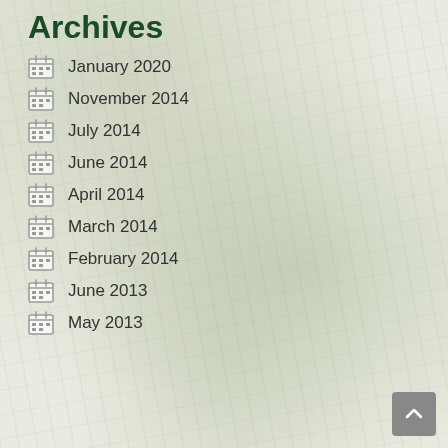Archives
January 2020
November 2014
July 2014
June 2014
April 2014
March 2014
February 2014
June 2013
May 2013